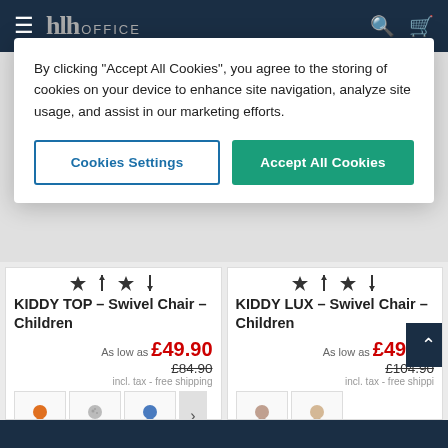hlh OFFICE
By clicking "Accept All Cookies", you agree to the storing of cookies on your device to enhance site navigation, analyze site usage, and assist in our marketing efforts.
Cookies Settings | Accept All Cookies
KIDDY TOP – Swivel Chair – Children
As low as £49.90
£84.90
incl. tax - free shipping
KIDDY LUX – Swivel Chair – Children
As low as £49.90
£104.90
incl. tax - free shipping